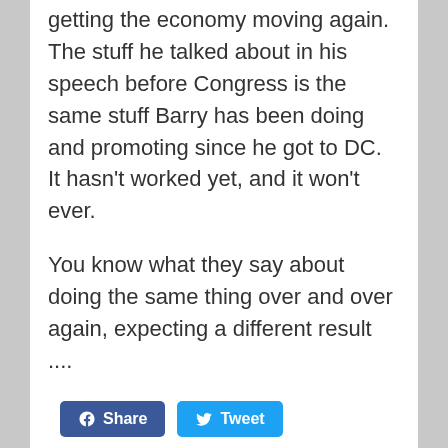getting the economy moving again. The stuff he talked about in his speech before Congress is the same stuff Barry has been doing and promoting since he got to DC.  It hasn't worked yet, and it won't ever.
You know what they say about doing the same thing over and over again, expecting a different result ....
[Figure (other): Social share buttons: Facebook Share button (dark blue) and Twitter Tweet button (light blue)]
Campaign 2012, Democrats, Economy, Obama, Politics
Apex, campaign, economy, job creation, North Carolina, Obama, President